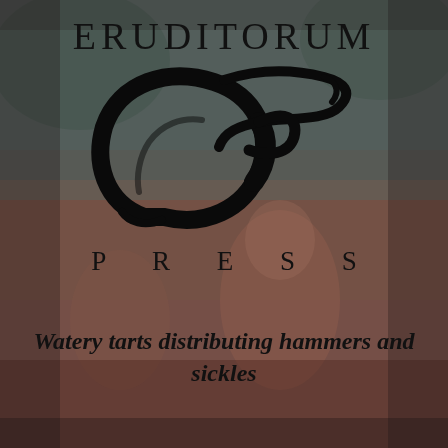[Figure (logo): Eruditorum Press logo: dark teal/rose background with a classical painting scene (figures in mythological setting), overlaid with 'ERUDITORUM' text at top, a stylized 'EP' calligraphic logo in the center, 'PRESS' text below, and the tagline 'Watery tarts distributing hammers and sickles' at the bottom.]
ERUDITORUM
PRESS
Watery tarts distributing hammers and sickles